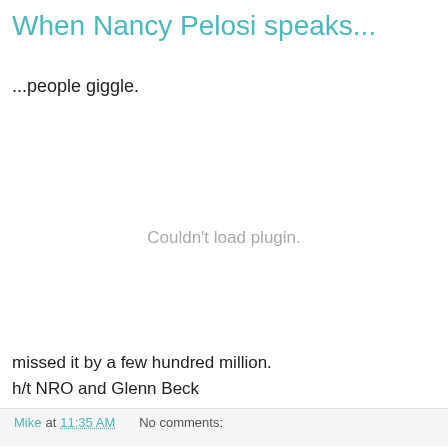When Nancy Pelosi speaks...
...people giggle.
[Figure (other): Embedded plugin area showing 'Couldn't load plugin.' message in gray text]
missed it by a few hundred million.
h/t NRO and Glenn Beck
Mike at 11:35 AM   No comments:   Share